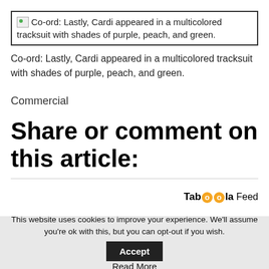[Figure (photo): Broken image placeholder with caption: Co-ord: Lastly, Cardi appeared in a multicolored tracksuit with shades of purple, peach, and green.]
Co-ord: Lastly, Cardi appeared in a multicolored tracksuit with shades of purple, peach, and green.
Commercial
Share or comment on this article:
Taboola Feed
This website uses cookies to improve your experience. We'll assume you're ok with this, but you can opt-out if you wish. Accept
Read More